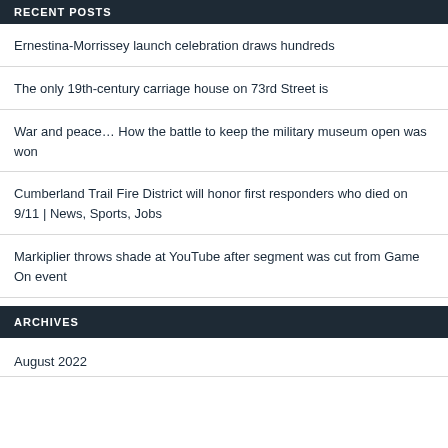RECENT POSTS
Ernestina-Morrissey launch celebration draws hundreds
The only 19th-century carriage house on 73rd Street is
War and peace... How the battle to keep the military museum open was won
Cumberland Trail Fire District will honor first responders who died on 9/11 | News, Sports, Jobs
Markiplier throws shade at YouTube after segment was cut from Game On event
ARCHIVES
August 2022